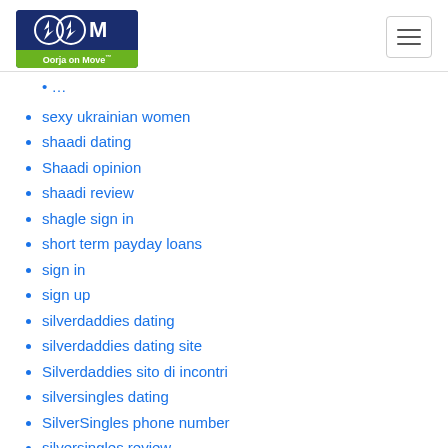Oorja on Move
sexy ukrainian women
shaadi dating
Shaadi opinion
shaadi review
shagle sign in
short term payday loans
sign in
sign up
silverdaddies dating
silverdaddies dating site
Silverdaddies sito di incontri
silversingles dating
SilverSingles phone number
silversingles review
silversingles reviews